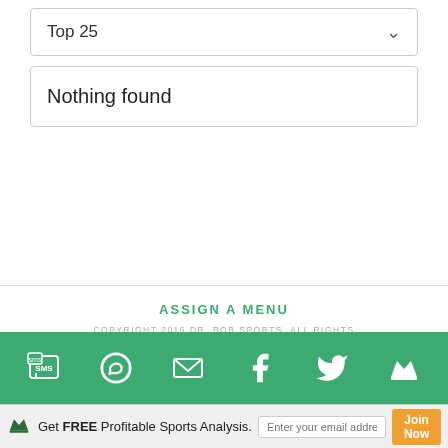Top 25
Nothing found
ASSIGN A MENU
COPYRIGHT 2016 DR. BOB SPORTS. ALL RIGHTS RESERVED
CONTACT | ABOUT DR. BOB | JOBS
TERMS & CONDITIONS | PRIVACY & REFUND POLICY
[Figure (other): Facebook and Twitter social icon buttons]
[Figure (other): Green bar with SMS, WhatsApp, email, Facebook, Twitter, and crown icons]
Get FREE Profitable Sports Analysis.
Enter your email addres
Join Now